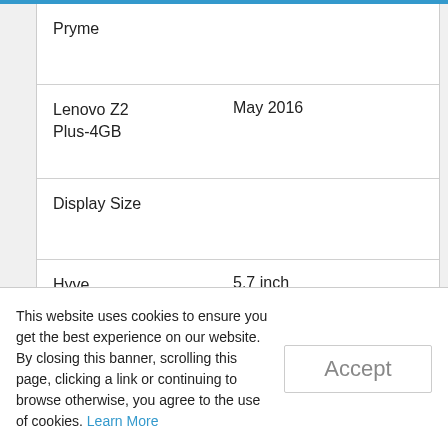| Device | Value |
| --- | --- |
| Pryme |  |
| Lenovo Z2 Plus-4GB | May 2016 |
| Display Size |  |
| Hyve Pryme | 5.7 inch |
| Lenovo Z2 Plus-4GB | 5 inch |
This website uses cookies to ensure you get the best experience on our website. By closing this banner, scrolling this page, clicking a link or continuing to browse otherwise, you agree to the use of cookies. Learn More
Accept